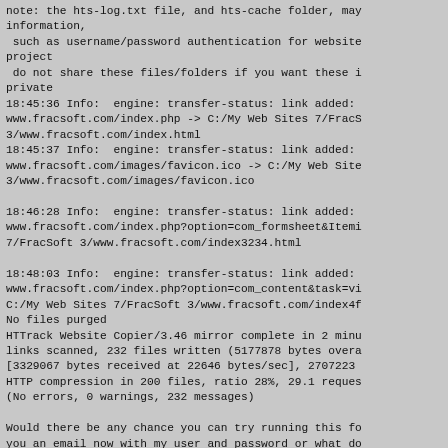note: the hts-log.txt file, and hts-cache folder, may
information,
 such as username/password authentication for website
project
 do not share these files/folders if you want these i
private
18:45:36 Info:  engine: transfer-status: link added:
www.fracsoft.com/index.php -> C:/My Web Sites 7/FracS
3/www.fracsoft.com/index.html
18:45:37 Info:  engine: transfer-status: link added:
www.fracsoft.com/images/favicon.ico -> C:/My Web Site
3/www.fracsoft.com/images/favicon.ico

18:46:28 Info:  engine: transfer-status: link added:
www.fracsoft.com/index.php?option=com_formsheet&Itemi
7/FracSoft 3/www.fracsoft.com/index3234.html

18:48:03 Info:  engine: transfer-status: link added:
www.fracsoft.com/index.php?option=com_content&task=vi
C:/My Web Sites 7/FracSoft 3/www.fracsoft.com/index4f
No files purged
HTTrack Website Copier/3.46 mirror complete in 2 minu
links scanned, 232 files written (5177878 bytes overa
[3329067 bytes received at 22646 bytes/sec], 2707223
HTTP compression in 200 files, ratio 28%, 29.1 reques
(No errors, 0 warnings, 232 messages)

Would there be any chance you can try running this fo
you an email now with my user and password or what do